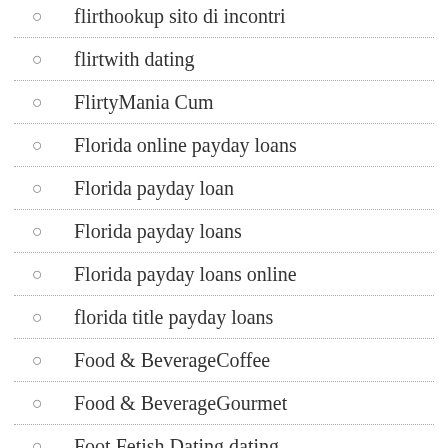flirthookup sito di incontri
flirtwith dating
FlirtyMania Cum
Florida online payday loans
Florida payday loan
Florida payday loans
Florida payday loans online
florida title payday loans
Food & BeverageCoffee
Food & BeverageGourmet
Foot Fetish Dating dating
Foreign Bride